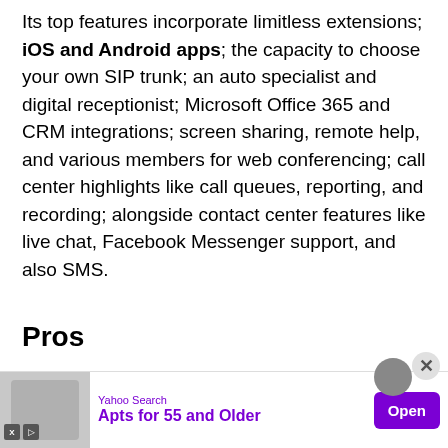Its top features incorporate limitless extensions; iOS and Android apps; the capacity to choose your own SIP trunk; an auto specialist and digital receptionist; Microsoft Office 365 and CRM integrations; screen sharing, remote help, and various members for web conferencing; call center highlights like call queues, reporting, and recording; alongside contact center features like live chat, Facebook Messenger support, and also SMS.
Pros
Choices for on-premises, private cloud, or